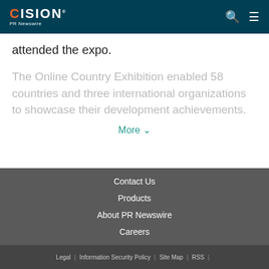CISION PR Newswire
attended the expo.
The Online Country Exhibition enabled 58 countries and three international organizations to showcase their development achievements.
More ˅
Contact Us
Products
About PR Newswire
Careers
Legal | Information Security Policy | Site Map | RSS |